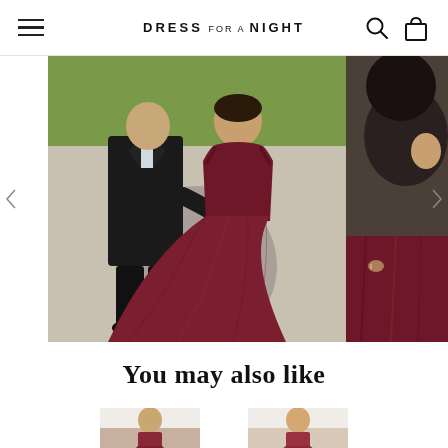DRESS FOR A NIGHT
[Figure (photo): Person in a dark suit standing next to a woman wearing a long burgundy/maroon ball gown, photographed outdoors on a paved path with green grass in the background. A partial second photo is visible on the right side showing a close-up of the burgundy dress.]
You may also like
[Figure (photo): Thumbnail photo of a woman wearing a dark formal dress, left side]
[Figure (photo): Thumbnail photo of a woman wearing a formal dress, right side]